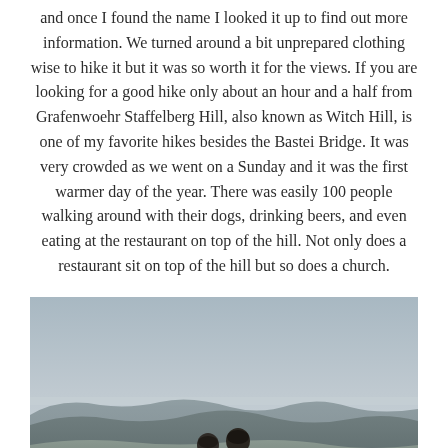and once I found the name I looked it up to find out more information. We turned around a bit unprepared clothing wise to hike it but it was so worth it for the views. If you are looking for a good hike only about an hour and a half from Grafenwoehr Staffelberg Hill, also known as Witch Hill, is one of my favorite hikes besides the Bastei Bridge. It was very crowded as we went on a Sunday and it was the first warmer day of the year. There was easily 100 people walking around with their dogs, drinking beers, and even eating at the restaurant on top of the hill. Not only does a restaurant sit on top of the hill but so does a church.
[Figure (photo): Two people sitting side by side viewed from behind, looking out over a wide valley landscape with rolling hills in the distance under an overcast grey sky.]